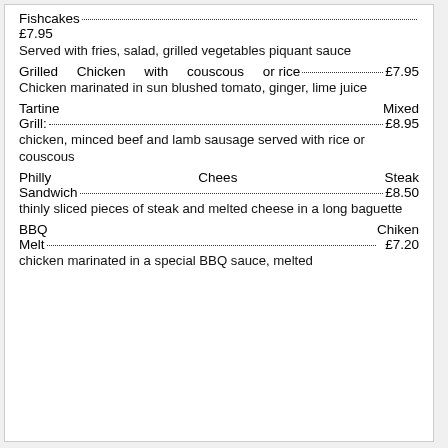Fishcakes....£7.95
Served with fries, salad, grilled vegetables piquant sauce
Grilled Chicken with couscous or rice....£7.95
Chicken marinated in sun blushed tomato, ginger, lime juice
Tartine Mixed Grill:....£8.95
chicken, minced beef and lamb sausage served with rice or couscous
Philly Chees Steak Sandwich....£8.50
thinly sliced pieces of steak and melted cheese in a long baguette
BBQ Chiken Melt....£7.20
chicken marinated in a special BBQ sauce, melted